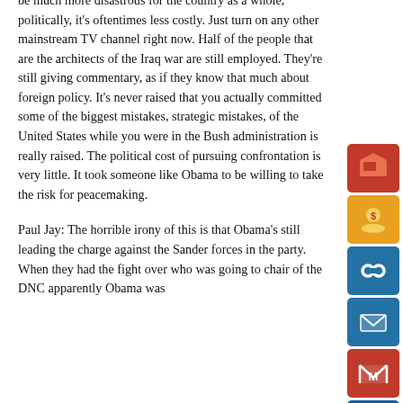be much more disastrous for the country as a whole, politically, it's oftentimes less costly. Just turn on any other mainstream TV channel right now. Half of the people that are the architects of the Iraq war are still employed. They're still giving commentary, as if they know that much about foreign policy. It's never raised that you actually committed some of the biggest mistakes, strategic mistakes, of the United States while you were in the Bush administration is really raised. The political cost of pursuing confrontation is very little. It took someone like Obama to be willing to take the risk for peacemaking.
Paul Jay: The horrible irony of this is that Obama's still leading the charge against the Sander forces in the party. When they had the fight over who was going to chair of the DNC apparently Obama was